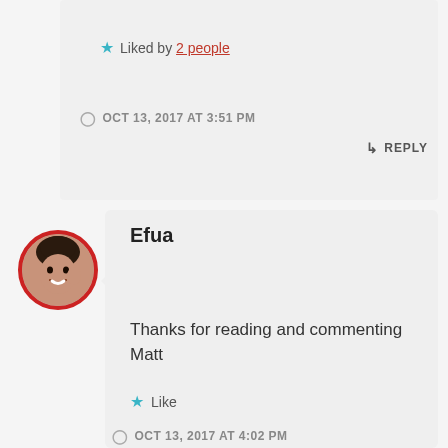★ Liked by 2 people
OCT 13, 2017 AT 3:51 PM
↳ REPLY
[Figure (photo): Circular avatar photo of Efua with red border, showing a smiling woman]
Efua
Thanks for reading and commenting Matt
★ Like
OCT 13, 2017 AT 4:02 PM
↳ REPLY